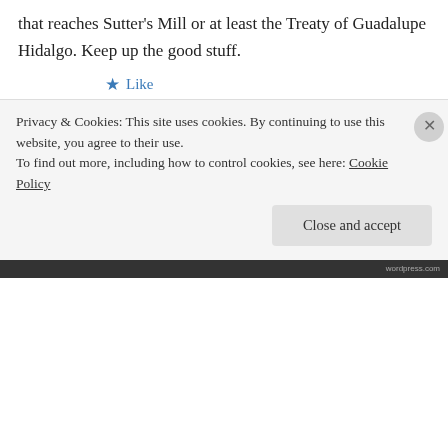that reaches Sutter's Mill or at least the Treaty of Guadalupe Hidalgo. Keep up the good stuff.
★ Like
↳ Reply
andidownning on September 3, 2014 at 11:02 am
Thanks Paul–and isn't it often the stuff lost in those historical margins which proves the
Privacy & Cookies: This site uses cookies. By continuing to use this website, you agree to their use.
To find out more, including how to control cookies, see here: Cookie Policy
Close and accept